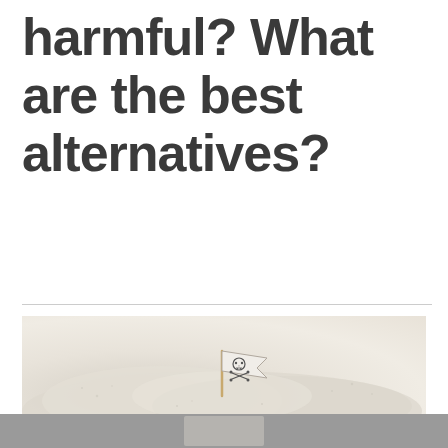harmful? What are the best alternatives?
[Figure (photo): A small pirate flag with skull and crossbones stuck into white granulated sugar, concept image suggesting sugar is harmful/dangerous]
[Figure (photo): Partial view of another image at the bottom of the page, grey/muted toned background with partial object visible]